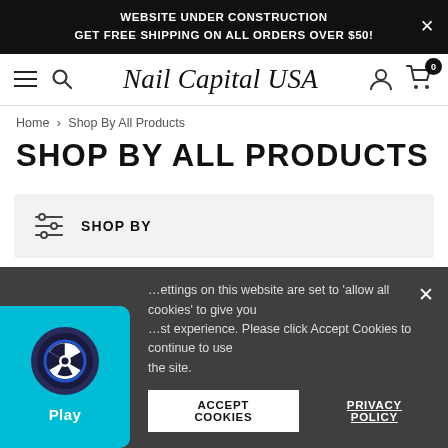WEBSITE UNDER CONSTRUCTION
GET FREE SHIPPING ON ALL ORDERS OVER $50!
[Figure (screenshot): Navigation bar with hamburger menu, search icon, 'Nail Capital USA' brand name in script font, user icon, and cart icon with badge showing 0]
Home > Shop By All Products
SHOP BY ALL PRODUCTS
[Figure (other): Shop By filter bar with filter/sliders icon and 'SHOP BY' label on light grey background]
[Figure (other): Cookie consent overlay with text: 'settings on this website are set to allow all cookies to give you st experience. Please click Accept Cookies to continue to use the site.' with Accept Cookies and Privacy Policy buttons. Also shows a Play widget (circular icon on teal background) and a close X button.]